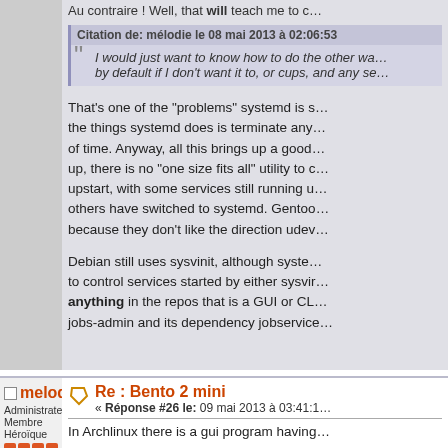Au contraire ! Well, that will teach me to c...
Citation de: mélodie le 08 mai 2013 à 02:06:53
I would just want to know how to do the other wa... by default if I don't want it to, or cups, and any se...
That's one of the "problems" systemd is s... the things systemd does is terminate any... of time. Anyway, all this brings up a good... up, there is no "one size fits all" utility to c... upstart, with some services still running u... others have switched to systemd. Gentoo... because they don't like the direction udev...
Debian still uses sysvinit, although syste... to control services started by either sysvir... anything in the repos that is a GUI or CL... jobs-admin and its dependency jobservice...
melodie
Administrateur
Membre Héroïque
Re : Bento 2 mini
« Réponse #26 le: 09 mai 2013 à 03:41:1...
In Archlinux there is a gui program having...